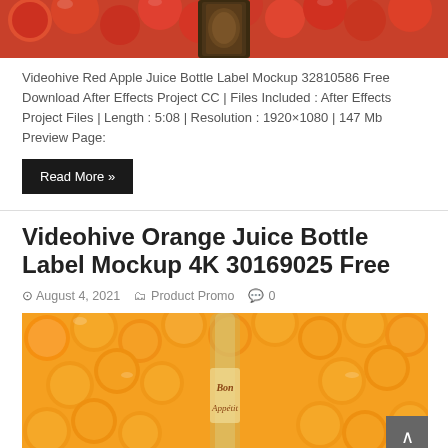[Figure (photo): Top portion of red apple juice bottle label mockup image showing red apples and a dark bottle cap]
Videohive Red Apple Juice Bottle Label Mockup 32810586 Free Download After Effects Project CC | Files Included : After Effects Project Files | Length : 5:08 | Resolution : 1920×1080 | 147 Mb Preview Page:
Read More »
Videohive Orange Juice Bottle Label Mockup 4K 30169025 Free
August 4, 2021   Product Promo   0
[Figure (photo): Orange juice bottle label mockup showing many oranges with a clear juice bottle in the center labeled 'Bon Appétit']